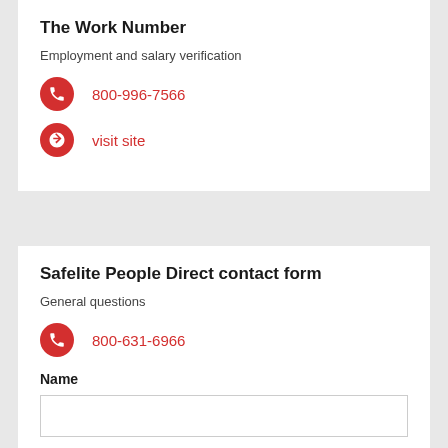The Work Number
Employment and salary verification
800-996-7566
visit site
Safelite People Direct contact form
General questions
800-631-6966
Name